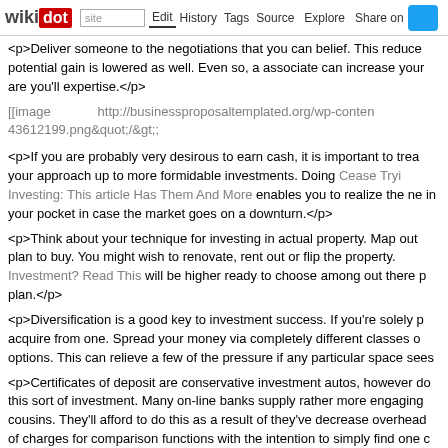wikidot | site | Edit | History | Tags | Source | Explore | Share on Twitter
<p>Deliver someone to the negotiations that you can belief. This reduce potential gain is lowered as well. Even so, a associate can increase your are you'll expertise.</p>
[[image http://businessproposaltemplated.org/wp-conten 43612199.png&quot;/&gt;
<p>If you are probably very desirous to earn cash, it is important to trea your approach up to more formidable investments. Doing Cease Tryi Investing: This article Has Them And More enables you to realize the ne in your pocket in case the market goes on a downturn.</p>
<p>Think about your technique for investing in actual property. Map out plan to buy. You might wish to renovate, rent out or flip the property. Investment? Read This will be higher ready to choose among out there p plan.</p>
<p>Diversification is a good key to investment success. If you're solely p acquire from one. Spread your money via completely different classes o options. This can relieve a few of the pressure if any particular space sees</p>
<p>Certificates of deposit are conservative investment autos, however do this sort of investment. Many on-line banks supply rather more engaging cousins. They'll afford to do this as a result of they've decrease overhead of charges for comparison functions with the intention to simply find one c </p>
<p>Don't sell your stocks the minute you notice an issue. This panic caus and keep calm. Solely sell after you have considered every little thing and